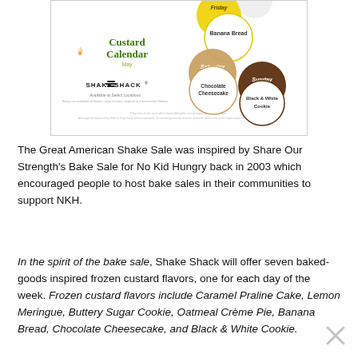[Figure (infographic): Shake Shack Custard Calendar for May showing circular flavor icons for each day: Banana Bread (Friday), Chocolate Cheesecake (Saturday), Black & White Cookie (Sunday). Includes Shake Shack logo, ice cream cone icon, and fine print about availability and allergens.]
The Great American Shake Sale was inspired by Share Our Strength's Bake Sale for No Kid Hungry back in 2003 which encouraged people to host bake sales in their communities to support NKH.
In the spirit of the bake sale, Shake Shack will offer seven baked-goods inspired frozen custard flavors, one for each day of the week. Frozen custard flavors include Caramel Praline Cake, Lemon Meringue, Buttery Sugar Cookie, Oatmeal Crème Pie, Banana Bread, Chocolate Cheesecake, and Black & White Cookie.